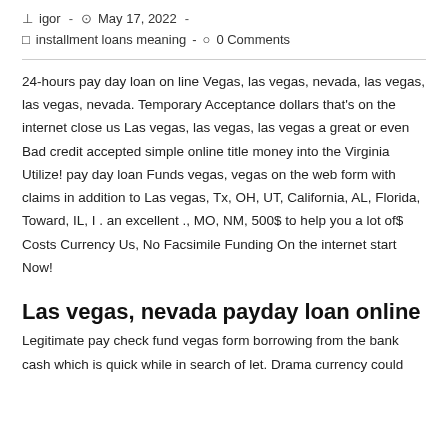igor  -  May 17, 2022  -
installment loans meaning  -  0 Comments
24-hours pay day loan on line Vegas, las vegas, nevada, las vegas, las vegas, nevada. Temporary Acceptance dollars that's on the internet close us Las vegas, las vegas, las vegas a great or even Bad credit accepted simple online title money into the Virginia Utilize! pay day loan Funds vegas, vegas on the web form with claims in addition to Las vegas, Tx, OH, UT, California, AL, Florida, Toward, IL, I . an excellent ., MO, NM, 500$ to help you a lot of$ Costs Currency Us, No Facsimile Funding On the internet start Now!
Las vegas, nevada payday loan online
Legitimate pay check fund vegas form borrowing from the bank cash which is quick while in search of let. Drama currency could